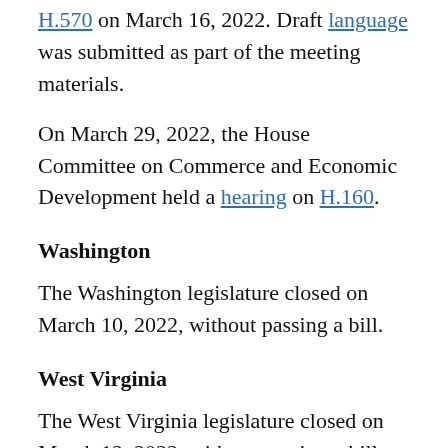H.570 on March 16, 2022. Draft language was submitted as part of the meeting materials.
On March 29, 2022, the House Committee on Commerce and Economic Development held a hearing on H.160.
Washington
The Washington legislature closed on March 10, 2022, without passing a bill.
West Virginia
The West Virginia legislature closed on March 12, 2022, without passing a bill.